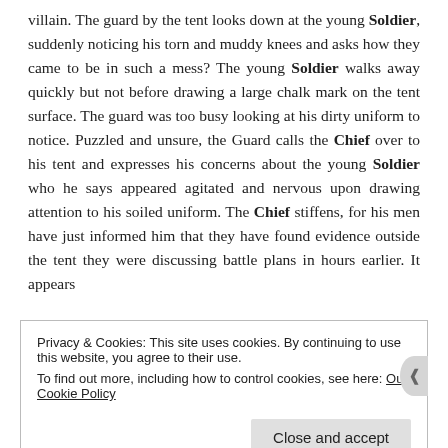villain. The guard by the tent looks down at the young Soldier, suddenly noticing his torn and muddy knees and asks how they came to be in such a mess? The young Soldier walks away quickly but not before drawing a large chalk mark on the tent surface. The guard was too busy looking at his dirty uniform to notice. Puzzled and unsure, the Guard calls the Chief over to his tent and expresses his concerns about the young Soldier who he says appeared agitated and nervous upon drawing attention to his soiled uniform. The Chief stiffens, for his men have just informed him that they have found evidence outside the tent they were discussing battle plans in hours earlier. It appears
Privacy & Cookies: This site uses cookies. By continuing to use this website, you agree to their use.
To find out more, including how to control cookies, see here: Our Cookie Policy
Close and accept